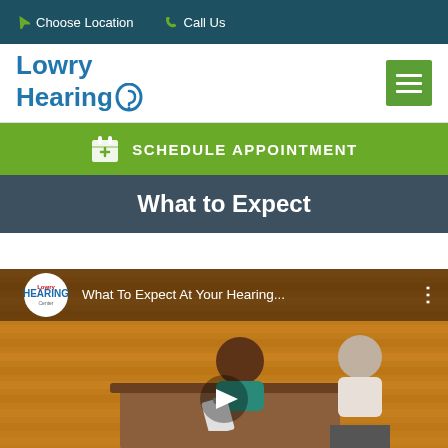Choose Location  Call Us
[Figure (logo): Lowry Hearing logo with ear icon]
SCHEDULE APPOINTMENT
What to Expect
[Figure (screenshot): YouTube video thumbnail: 'What To Expect At Your Hearing...' with animated characters of a receptionist and patient]